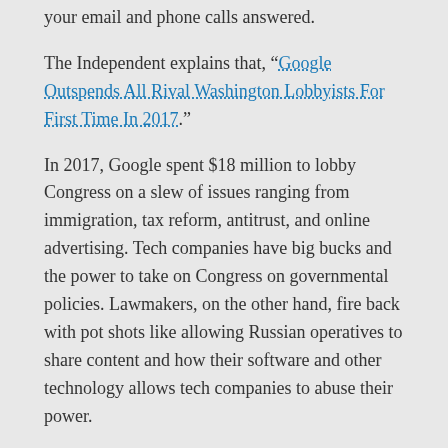your email and phone calls answered.
The Independent explains that, “Google Outspends All Rival Washington Lobbyists For First Time In 2017.”
In 2017, Google spent $18 million to lobby Congress on a slew of issues ranging from immigration, tax reform, antitrust, and online advertising. Tech companies have big bucks and the power to take on Congress on governmental policies. Lawmakers, on the other hand, fire back with pot shots like allowing Russian operatives to share content and how their software and other technology allows tech companies to abuse their power.
Google’s Washington operation proposed legislation that would require Web companies to collaborate on a public database of political as that run on their platforms. The idea is that the database would